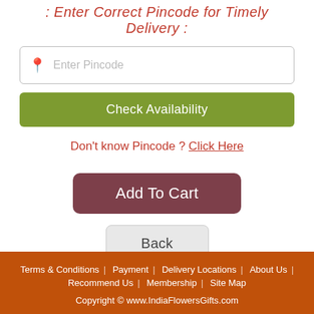: Enter Correct Pincode for Timely Delivery :
Enter Pincode
Check Availability
Don't know Pincode ? Click Here
Add To Cart
Back
Terms & Conditions | Payment | Delivery Locations | About Us | Recommend Us | Membership | Site Map
Copyright © www.IndiaFlowersGifts.com